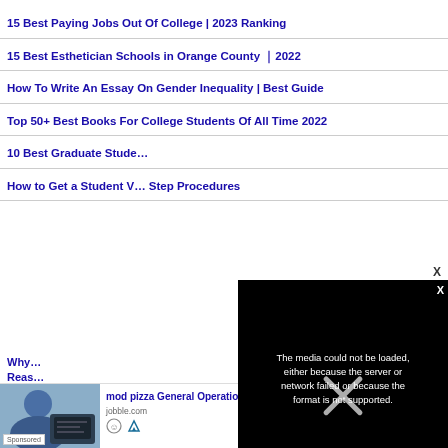15 Best Paying Jobs Out Of College | 2023 Ranking
15 Best Esthetician Schools in Orange County ｜2022
How To Write An Essay On Gender Inequality | Best Guide
Top 50+ Best Books For College Students Of All Time 2022
10 Best Graduate Stude…
How to Get a Student V… Step Procedures
[Figure (screenshot): Black media error overlay reading: The media could not be loaded, either because the server or network failed or because the format is not supported. With an X close icon.]
Why… Reas…
mod pizza General Operational Manager Jobs i…
jobble.com